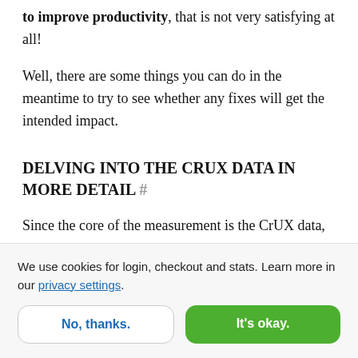to improve productivity, that is not very satisfying at all!
Well, there are some things you can do in the meantime to try to see whether any fixes will get the intended impact.
DELVING INTO THE CRUX DATA IN MORE DETAIL #
Since the core of the measurement is the CrUX data,
We use cookies for login, checkout and stats. Learn more in our privacy settings.
No, thanks.
It's okay.